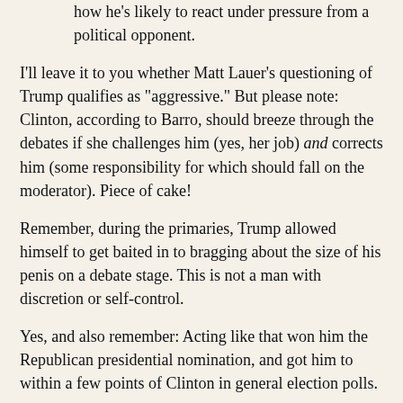how he's likely to react under pressure from a political opponent.
I'll leave it to you whether Matt Lauer's questioning of Trump qualifies as "aggressive." But please note: Clinton, according to Barro, should breeze through the debates if she challenges him (yes, her job) and corrects him (some responsibility for which should fall on the moderator). Piece of cake!
Remember, during the primaries, Trump allowed himself to get baited in to bragging about the size of his penis on a debate stage. This is not a man with discretion or self-control.
Yes, and also remember: Acting like that won him the Republican presidential nomination, and got him to within a few points of Clinton in general election polls.
Barro does introduce a note of caution:
When I tweeted that Wednesday's forum showed Clinton should be as aggressive as possible when debating Trump, my MSNBC colleague Irin Carmon